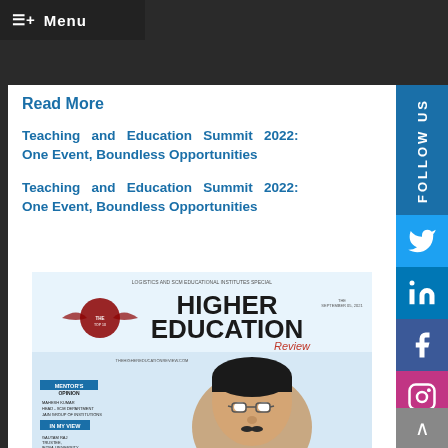Menu
Read More
Teaching and Education Summit 2022: One Event, Boundless Opportunities
Teaching and Education Summit 2022: One Event, Boundless Opportunities
[Figure (photo): Cover of Higher Education Review magazine showing a man with glasses, with sections labeled MENTOR'S OPINION and IN MY VIEW, and text about LOGISTICS AND SCM EDUCATIONAL INSTITUTES SPECIAL]